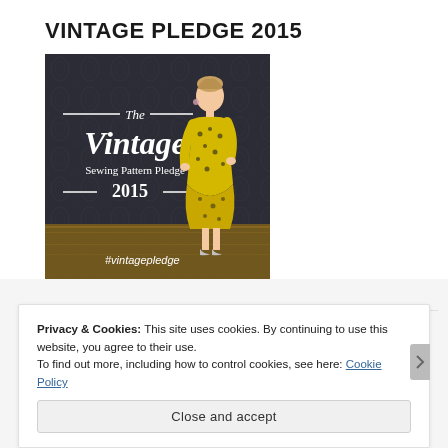VINTAGE PLEDGE 2015
[Figure (illustration): The Vintage Sewing Pattern Pledge 2015 promotional image. A dark damask-patterned background with a vintage-dressed woman in a yellow floral dress. Text reads 'The Vintage Sewing Pattern Pledge 2015' and '#vintagepledge' at the bottom.]
Privacy & Cookies: This site uses cookies. By continuing to use this website, you agree to their use.
To find out more, including how to control cookies, see here: Cookie Policy
Close and accept